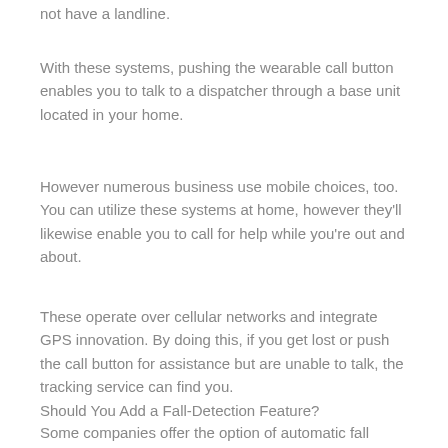not have a landline.
With these systems, pushing the wearable call button enables you to talk to a dispatcher through a base unit located in your home.
However numerous business use mobile choices, too. You can utilize these systems at home, however they'll likewise enable you to call for help while you're out and about.
These operate over cellular networks and integrate GPS innovation. By doing this, if you get lost or push the call button for assistance but are unable to talk, the tracking service can find you.
Should You Add a Fall-Detection Feature?
Some companies offer the option of automatic fall detection, for an additional monthly fee. Manufacturers